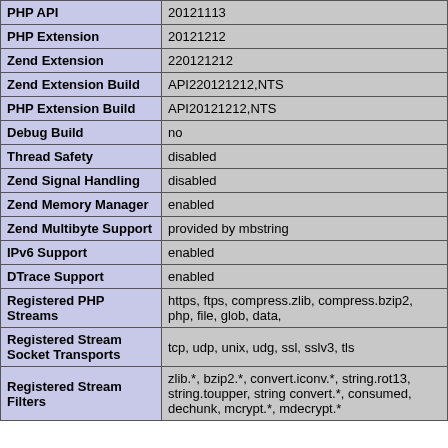| Property | Value |
| --- | --- |
| PHP API | 20121113 |
| PHP Extension | 20121212 |
| Zend Extension | 220121212 |
| Zend Extension Build | API220121212,NTS |
| PHP Extension Build | API20121212,NTS |
| Debug Build | no |
| Thread Safety | disabled |
| Zend Signal Handling | disabled |
| Zend Memory Manager | enabled |
| Zend Multibyte Support | provided by mbstring |
| IPv6 Support | enabled |
| DTrace Support | enabled |
| Registered PHP Streams | https, ftps, compress.zlib, compress.bzip2, php, file, glob, data, |
| Registered Stream Socket Transports | tcp, udp, unix, udg, ssl, sslv3, tls |
| Registered Stream Filters | zlib.*, bzip2.*, convert.iconv.*, string.rot13, string.toupper, string convert.*, consumed, dechunk, mcrypt.*, mdecrypt.* |